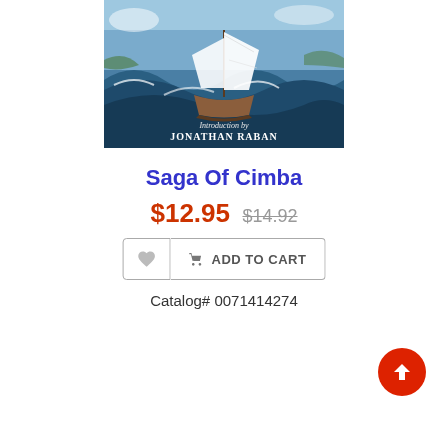[Figure (illustration): Book cover of 'Saga Of Cimba' showing a sailing vessel on rough seas, with text 'Introduction by JONATHAN RABAN']
Saga Of Cimba
$12.95  $14.92
ADD TO CART
Catalog# 0071414274